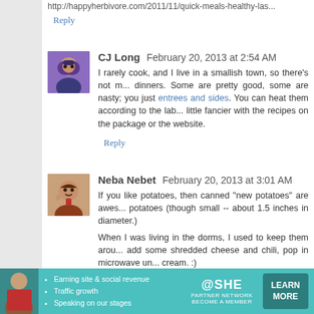http://happyherbivore.com/2011/11/quick-meals-healthy-las...
Reply
CJ Long  February 20, 2013 at 2:54 AM
I rarely cook, and I live in a smallish town, so there's not m... dinners. Some are pretty good, some are nasty; you just... entrees and sides. You can heat them according to the lab... little fancier with the recipes on the package or the website.
Reply
Neba Nebet  February 20, 2013 at 3:01 AM
If you like potatoes, then canned "new potatoes" are awes... potatoes (though small -- about 1.5 inches in diameter.)
When I was living in the dorms, I used to keep them arou... add some shredded cheese and chili, pop in microwave un... cream. :)
There are lots of other good things available in the canned... frozen meats that only require defrosting, as well.
I also second the microwaved quesadillas. We like ou...
[Figure (infographic): SHE Partner Network advertisement banner with person photo, bullet points about earning site & social revenue, traffic growth, speaking on our stages, SHE logo, and LEARN MORE button.]